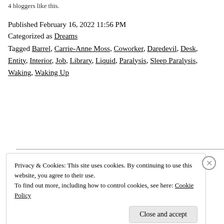4 bloggers like this.
Published February 16, 2022 11:56 PM
Categorized as Dreams
Tagged Barrel, Carrie-Anne Moss, Coworker, Daredevil, Desk, Entity, Interior, Job, Library, Liquid, Paralysis, Sleep Paralysis, Waking, Waking Up
Privacy & Cookies: This site uses cookies. By continuing to use this website, you agree to their use. To find out more, including how to control cookies, see here: Cookie Policy
Close and accept